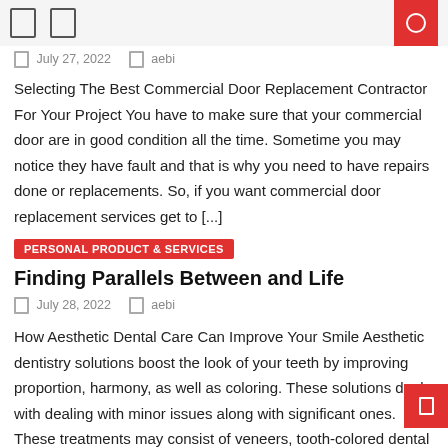July 27, 2022   aebi
Selecting The Best Commercial Door Replacement Contractor For Your Project You have to make sure that your commercial door are in good condition all the time. Sometime you may notice they have fault and that is why you need to have repairs done or replacements. So, if you want commercial door replacement services get to [...]
PERSONAL PRODUCT & SERVICES
Finding Parallels Between and Life
July 28, 2022   aebi
How Aesthetic Dental Care Can Improve Your Smile Aesthetic dentistry solutions boost the look of your teeth by improving proportion, harmony, as well as coloring. These solutions deal with dealing with minor issues along with significant ones. These treatments may consist of veneers, tooth-colored dental fillings, and tooth-colored crowns. These solutions will restore the smile [...]